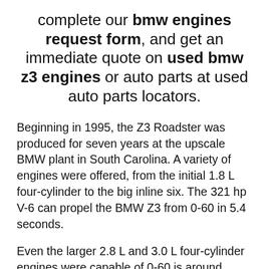complete our bmw engines request form, and get an immediate quote on used bmw z3 engines or auto parts at used auto parts locators.
Beginning in 1995, the Z3 Roadster was produced for seven years at the upscale BMW plant in South Carolina. A variety of engines were offered, from the initial 1.8 L four-cylinder to the big inline six. The 321 hp V-6 can propel the BMW Z3 from 0-60 in 5.4 seconds.
Even the larger 2.8 L and 3.0 L four-cylinder engines were capable of 0-60 is around seven seconds.
Whichever replacement engine you now need, it will be simple to locate through Used Auto Parts